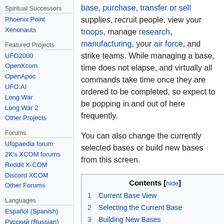Spiritual Successors
Phoenix Point
Xenonauts
Featured Projects
UFO2000
OpenXcom
OpenApoc
UFO:AI
Long War
Long War 2
Other Projects
Forums
Ufopaedia forum
2K's XCOM forums
Reddit X-COM
Discord XCOM
Other Forums
Languages
Español (Spanish)
Русский (Russian)
base, purchase, transfer or sell supplies, recruit people, view your troops, manage research, manufacturing, your air force, and strike teams. While managing a base, time does not elapse, and virtually all commands take time once they are ordered to be completed, so expect to be popping in and out of here frequently. You can also change the currently selected bases or build new bases from this screen.
| # | Section |
| --- | --- |
| 1 | Current Base View |
| 2 | Selecting the Current Base |
| 3 | Building New Bases |
| 4 | Base Information |
| 5 | Soldiers |
| 6 | Equip Craft |
| 6.1 | Outfitting Strike Teams |